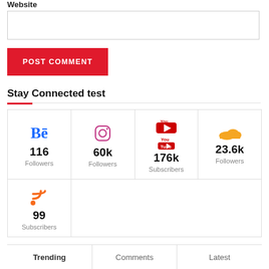Website
[Figure (screenshot): Text input field for website URL]
POST COMMENT
Stay Connected test
[Figure (infographic): Social media followers grid: Behance 116 Followers, Instagram 60k Followers, YouTube 176k Subscribers, SoundCloud 23.6k Followers, RSS 99 Subscribers]
Trending  Comments  Latest